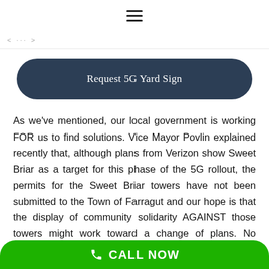≡ (hamburger menu icon)
< ··· >
Request 5G Yard Sign
As we've mentioned, our local government is working FOR us to find solutions. Vice Mayor Povlin explained recently that, although plans from Verizon show Sweet Briar as a target for this phase of the 5G rollout, the permits for the Sweet Briar towers have not been submitted to the Town of Farragut and our hope is that the display of community solidarity AGAINST those towers might work toward a change of plans. No permits = no towers, which is our goal.
To see the email communication from the Vice Mayor to
CALL NOW